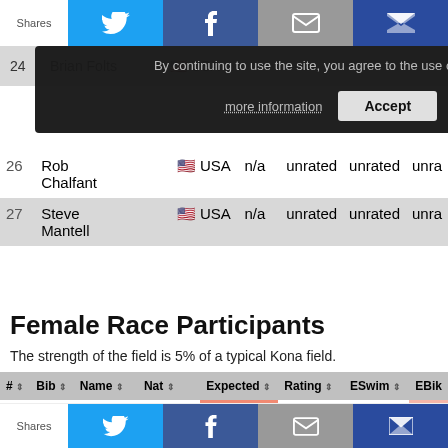Shares | Twitter | Facebook | Email | Crown
| # | Bib | Name | Nat | Expected | Rating | ESwim | EBik |
| --- | --- | --- | --- | --- | --- | --- | --- |
| 26 | Rob Chalfant | USA | n/a | unrated | unrated | unra |
| 27 | Steve Mantell | USA | n/a | unrated | unrated | unra |
Female Race Participants
The strength of the field is 5% of a typical Kona field.
| # | Bib | Name | Nat | Expected | Rating | ESwim | EBik |
| --- | --- | --- | --- | --- | --- | --- | --- |
| 1 | 32 | Angela Naeth * | CAN | 09:19:04 | 09:39:17 | 01:00:53 | 04:4 |
| 2 | 36 | Kirsty Jahn | CAN | 09:30:38 | 09:39:22 | 00:57:51 | 05:0 |
Shares | Twitter | Facebook | Email | Crown